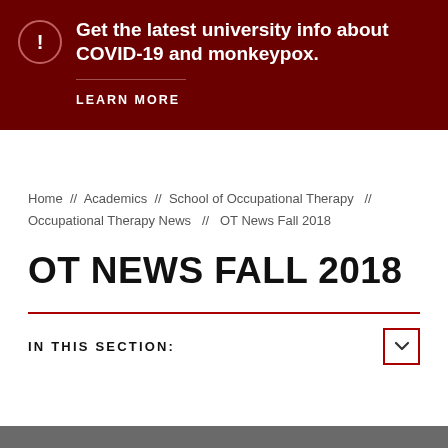Get the latest university info about COVID-19 and monkeypox.
LEARN MORE
Home // Academics // School of Occupational Therapy // Occupational Therapy News // OT News Fall 2018
OT NEWS FALL 2018
IN THIS SECTION: